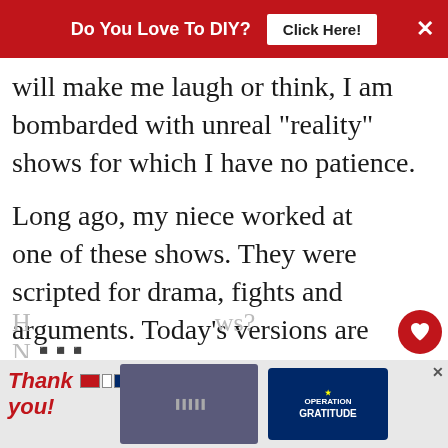Do You Love To DIY?  Click Here!  ×
will make me laugh or think, I am bombarded with unreal "reality" shows for which I have no patience.
Long ago, my niece worked at one of these shows. They were scripted for drama, fights and arguments. Today's versions are even worse.
[Figure (other): What's Next widget with thumbnail image and text: Custom Camouflage...]
[Figure (other): Advertisement banner: Thank you with Operation Gratitude image featuring firefighters]